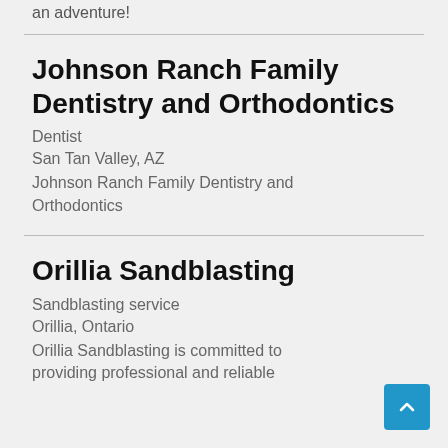an adventure!
Johnson Ranch Family Dentistry and Orthodontics
Dentist
San Tan Valley, AZ
Johnson Ranch Family Dentistry and Orthodontics
Orillia Sandblasting
Sandblasting service
Orillia, Ontario
Orillia Sandblasting is committed to providing professional and reliable